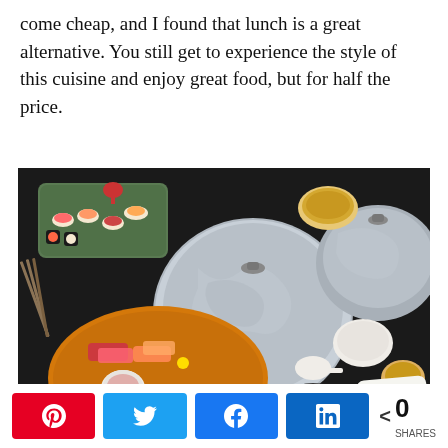come cheap, and I found that lunch is a great alternative. You still get to experience the style of this cuisine and enjoy great food, but for half the price.
[Figure (photo): Overhead view of a Japanese meal spread on a dark table: sushi platter, sashimi plate, covered metal pots, small white bowls, dipping sauce cups, chopsticks, and condiments. Watermark: © www.travelwithnanob.com]
0 SHARES [Pinterest share button] [Twitter share button] [Facebook share button] [LinkedIn share button]